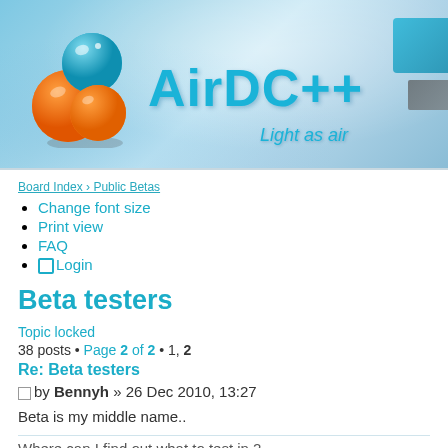[Figure (logo): AirDC++ logo with orange and blue bubble spheres and cyan text 'AirDC++' with tagline 'Light as air' on a sky blue gradient background]
Board Index › Public Betas
Change font size
Print view
FAQ
Login
Beta testers
Topic locked
38 posts • Page 2 of 2 • 1, 2
Re: Beta testers
by Bennyh » 26 Dec 2010, 13:27
Beta is my middle name..
Where can I find out what to test in 2